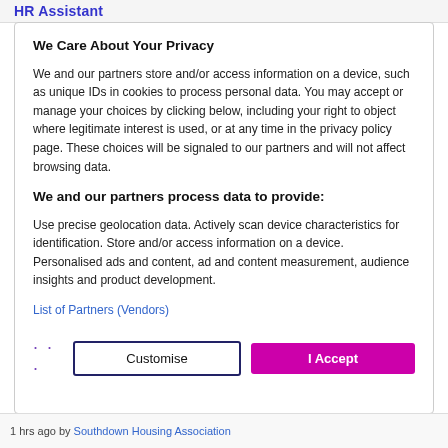HR Assistant
We Care About Your Privacy
We and our partners store and/or access information on a device, such as unique IDs in cookies to process personal data. You may accept or manage your choices by clicking below, including your right to object where legitimate interest is used, or at any time in the privacy policy page. These choices will be signaled to our partners and will not affect browsing data.
We and our partners process data to provide:
Use precise geolocation data. Actively scan device characteristics for identification. Store and/or access information on a device. Personalised ads and content, ad and content measurement, audience insights and product development.
List of Partners (Vendors)
1 hrs ago by Southdown Housing Association